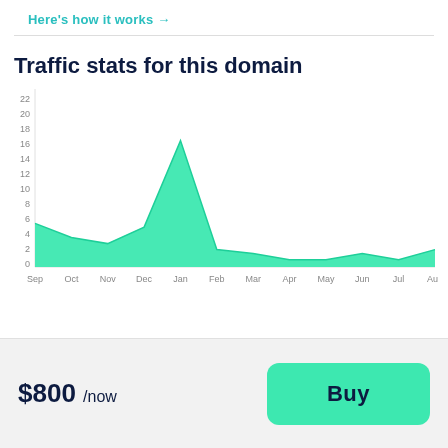Here's how it works →
Traffic stats for this domain
[Figure (area-chart): Traffic stats for this domain]
$800 /now
Buy